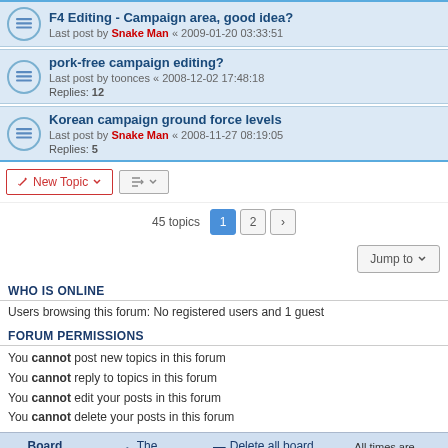F4 Editing - Campaign area, good idea? Last post by Snake Man « 2009-01-20 03:33:51
pork-free campaign editing? Last post by toonces « 2008-12-02 17:48:18 Replies: 12
Korean campaign ground force levels Last post by Snake Man « 2008-11-27 08:19:05 Replies: 5
New Topic | sort | 45 topics 1 2 >
Jump to
WHO IS ONLINE
Users browsing this forum: No registered users and 1 guest
FORUM PERMISSIONS
You cannot post new topics in this forum
You cannot reply to topics in this forum
You cannot edit your posts in this forum
You cannot delete your posts in this forum
Board index   The team   Delete all board cookies   All times are UTC
Powered by phpBB® Forum Software © phpBB Limited